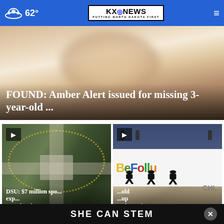62° KXONEWS PUTTING NORTH DAKOTA FIRST
[Figure (photo): Blurred close-up photo of a person's face, warm tones]
FOUND: Amber Alert issued for missing 3-year-old ...
[Figure (photo): Aerial overhead view of an intersection/roundabout on a green field, with dotted yellow lines]
DSU: $7 million spo... exp... completed...
[Figure (photo): Exterior of building with colorful sign reading 'Be Folly CHI...' with silhouetted children figures and industrial lamps]
...old ...up and running
SHE CAN STEM